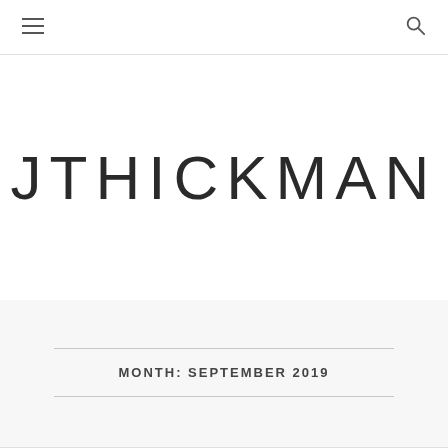JTHICKMAN — navigation header with hamburger menu and search icon
JTHICKMAN
MONTH: SEPTEMBER 2019